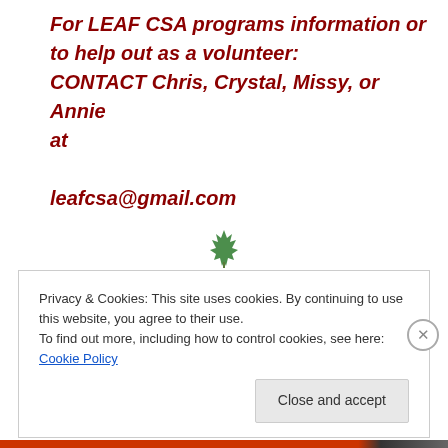For LEAF CSA programs information or to help out as a volunteer: CONTACT Chris, Crystal, Missy, or Annie at leafcsa@gmail.com
[Figure (illustration): Small green maple leaf icon centered on the page]
Location and Hours
Privacy & Cookies: This site uses cookies. By continuing to use this website, you agree to their use. To find out more, including how to control cookies, see here: Cookie Policy